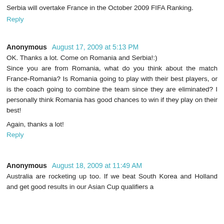Serbia will overtake France in the October 2009 FIFA Ranking.
Reply
Anonymous  August 17, 2009 at 5:13 PM
OK. Thanks a lot. Come on Romania and Serbia!:)
Since you are from Romania, what do you think about the match France-Romania? Is Romania going to play with their best players, or is the coach going to combine the team since they are eliminated? I personally think Romania has good chances to win if they play on their best!

Again, thanks a lot!
Reply
Anonymous  August 18, 2009 at 11:49 AM
Australia are rocketing up too. If we beat South Korea and Holland and get good results in our Asian Cup qualifiers a